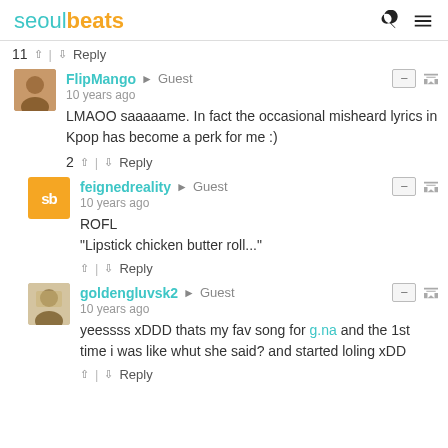seoulbeats
11 ^ | v Reply
FlipMango → Guest
10 years ago
LMAOO saaaaame. In fact the occasional misheard lyrics in Kpop has become a perk for me :)
2 ^ | v Reply
feignedreality → Guest
10 years ago
ROFL
"Lipstick chicken butter roll..."
^ | v Reply
goldengluvsk2 → Guest
10 years ago
yeessss xDDD thats my fav song for g.na and the 1st time i was like whut she said? and started loling xDD
^ | v Reply